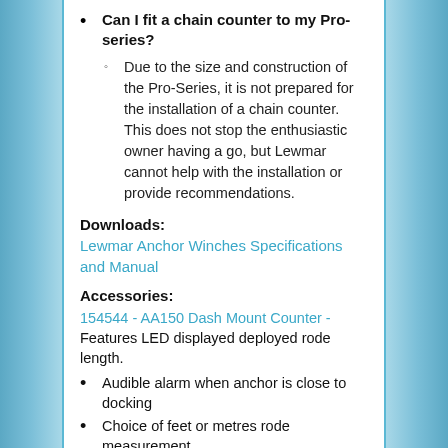Can I fit a chain counter to my Pro-series?
Due to the size and construction of the Pro-Series, it is not prepared for the installation of a chain counter. This does not stop the enthusiastic owner having a go, but Lewmar cannot help with the installation or provide recommendations.
Downloads:
Lewmar Anchor Winches Specifications and Manual
Accessories:
154544 - AA150 Dash Mount Counter - Features LED displayed deployed rode length.
Audible alarm when anchor is close to docking
Choice of feet or metres rode measurement